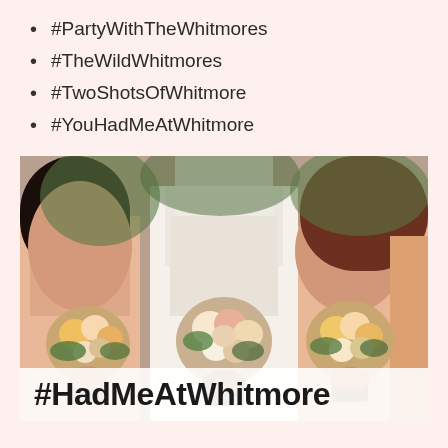#PartyWithTheWhitmores
#TheWildWhitmores
#TwoShotsOfWhitmore
#YouHadMeAtWhitmore
[Figure (photo): Wedding party photo showing a bride in white lace dress flanked by bridesmaids in peach/blush dresses, all holding floral bouquets of roses and wildflowers. Overlaid at the bottom with a white semi-transparent banner reading #HadMeAtWhitmore in bold black text.]